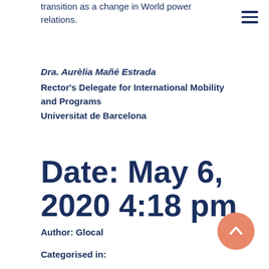transition as a change in World power relations.
Dra. Aurèlia Mañé Estrada
Rector's Delegate for International Mobility and Programs
Universitat de Barcelona
Date: May 6, 2020 4:18 pm
Author: Glocal
Categorised in: